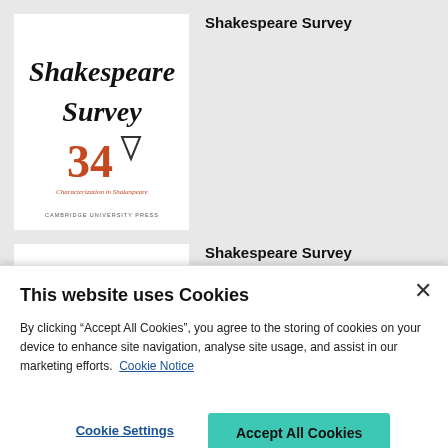[Figure (illustration): Book cover for Shakespeare Survey 34 - Characterization in Shakespeare, Cambridge University Press. White cover with black calligraphic title text, orange number 34, and decorative triangle/arrow motif.]
Shakespeare Survey
[Figure (illustration): Partial book cover for a second Shakespeare Survey volume, showing the beginning of the calligraphic Shakespeare text.]
Shakespeare Survey
This website uses Cookies
By clicking “Accept All Cookies”, you agree to the storing of cookies on your device to enhance site navigation, analyse site usage, and assist in our marketing efforts.  Cookie Notice
Cookie Settings
Accept All Cookies